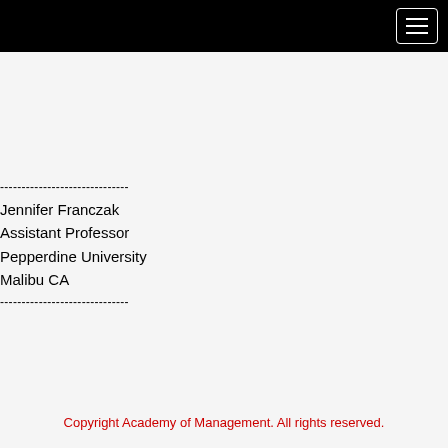------------------------------
Jennifer Franczak
Assistant Professor
Pepperdine University
Malibu CA
------------------------------
Copyright Academy of Management. All rights reserved.